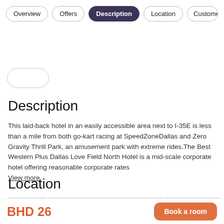Overview  Offers  Description  Location  Custome
Description
This laid-back hotel in an easily accessible area next to I-35E is less than a mile from both go-kart racing at SpeedZoneDallas and Zero Gravity Thrill Park, an amusement park with extreme rides.The Best Western Plus Dallas Love Field North Hotel is a mid-scale corporate hotel offering reasonable corporate rates View more
Location
[Figure (map): Street map showing location area, light gray roads on off-white background with a small green marker]
BHD 26
Book a room